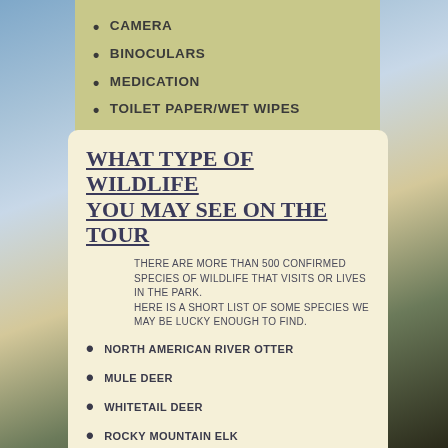CAMERA
BINOCULARS
MEDICATION
TOILET PAPER/WET WIPES
WHAT TYPE OF WILDLIFE YOU MAY SEE ON THE TOUR
THERE ARE MORE THAN 500 CONFIRMED SPECIES OF WILDLIFE THAT VISITS OR LIVES IN THE PARK. HERE IS A SHORT LIST OF SOME SPECIES WE MAY BE LUCKY ENOUGH TO FIND.
NORTH AMERICAN RIVER OTTER
MULE DEER
WHITETAIL DEER
ROCKY MOUNTAIN ELK